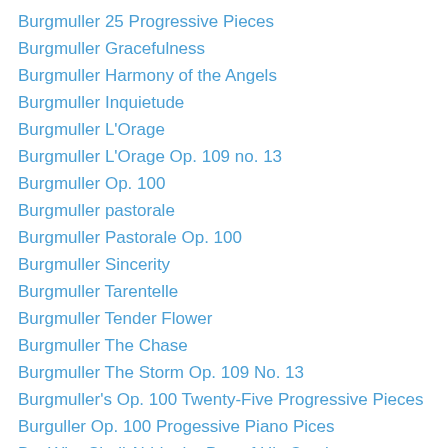Burgmuller 25 Progressive Pieces
Burgmuller Gracefulness
Burgmuller Harmony of the Angels
Burgmuller Inquietude
Burgmuller L'Orage
Burgmuller L'Orage Op. 109 no. 13
Burgmuller Op. 100
Burgmuller pastorale
Burgmuller Pastorale Op. 100
Burgmuller Sincerity
Burgmuller Tarentelle
Burgmuller Tender Flower
Burgmuller The Chase
Burgmuller The Storm Op. 109 No. 13
Burgmuller's Op. 100 Twenty-Five Progressive Pieces
Burguller Op. 100 Progessive Piano Pices
But Who Shall Abide the Day of His Coming
Butterfly by Edvard Grieg
buying a used piano
buying used piano